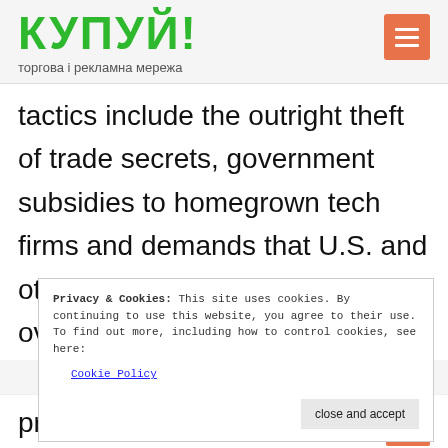КУПУЙ! торгова і рекламна мережа
tactics include the outright theft of trade secrets, government subsidies to homegrown tech firms and demands that U.S. and other foreign companies hand over technology if they want
Privacy & Cookies: This site uses cookies. By continuing to use this website, you agree to their use.
To find out more, including how to control cookies, see here:
Cookie Policy
close and accept
prove a lot harder than it was to